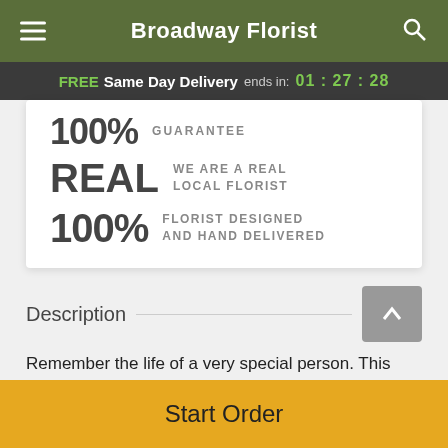Broadway Florist
FREE Same Day Delivery ends in: 01:27:28
100% GUARANTEE
REAL WE ARE A REAL LOCAL FLORIST
100% FLORIST DESIGNED AND HAND DELIVERED
Description
Remember the life of a very special person. This classic heart-shaped sympathy wreath is sure to be appreciated
Start Order